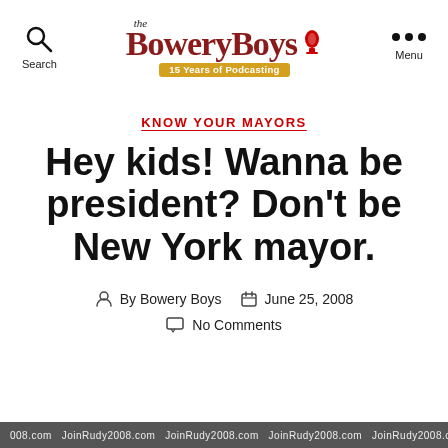the BoweryBoys | 15 Years of Podcasting — Search | Menu
KNOW YOUR MAYORS
Hey kids! Wanna be president? Don't be New York mayor.
By Bowery Boys   June 25, 2008   No Comments
JoinRudy2008.com  JoinRudy2008.com  JoinRudy2008.com  JoinRudy2008.com